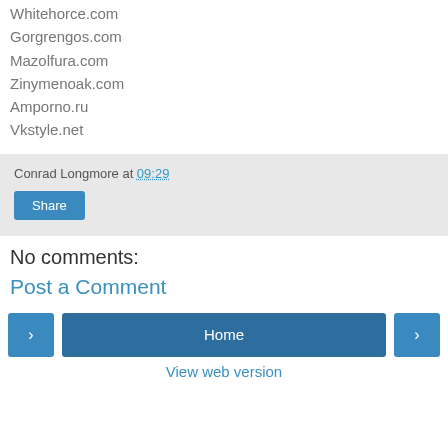Whitehorce.com
Gorgrengos.com
Mazolfura.com
Zinymenoak.com
Amporno.ru
Vkstyle.net
Conrad Longmore at 09:29
Share
No comments:
Post a Comment
< Home > View web version